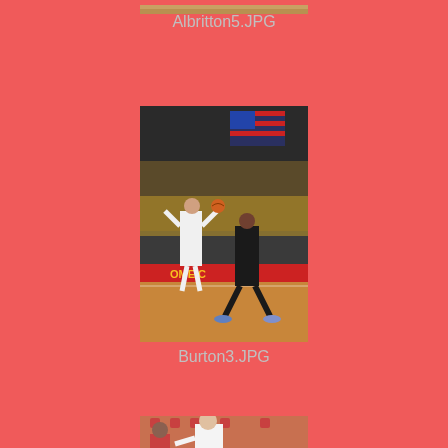[Figure (photo): Partial photo of Albritton5.JPG at top of page - appears to be a close-up of a person]
Albritton5.JPG
[Figure (photo): Burton3.JPG - basketball game photo showing player in white jersey shooting a basketball, defender in black, gymnasium with American flag visible in background and crowd in stands]
Burton3.JPG
[Figure (photo): Partial photo at bottom of page showing basketball players in red uniforms on a court]